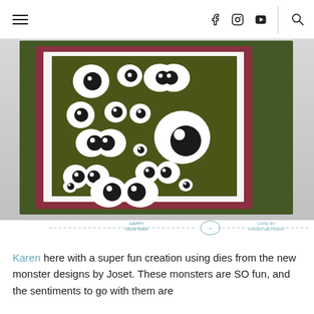≡  f  🔴  ▶  🔍
[Figure (photo): A handmade card featuring multiple googly eye die cuts arranged on a dark olive green background, layered with a maroon border and green floral patterned paper. The card is shown propped open at an angle. A watermark at the bottom reads 'HAPPY CRAFTERS' and 'CARD BY KAREN HETZMAN'.]
Karen here with a super fun creation using dies from the new monster designs by Joset. These monsters are SO fun, and the sentiments to go with them are